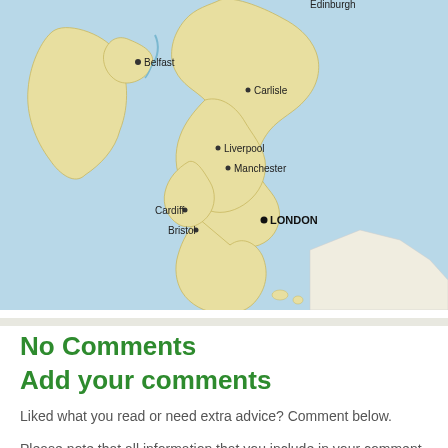[Figure (map): Map of the United Kingdom and Ireland showing major cities including Belfast, Edinburgh (partial), Carlisle, Liverpool, Manchester, Cardiff, Bristol, and London (bold). The landmass is shown in pale yellow/cream against a light blue sea background. Rivers are marked in blue.]
No Comments
Add your comments
Liked what you read or need extra advice? Comment below.
Please note that all information that you include in your comment will be shown on this page, together with your